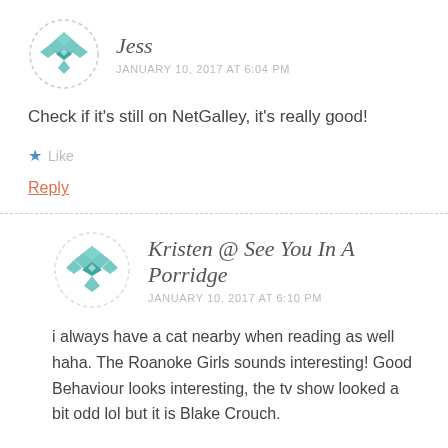[Figure (illustration): Teal geometric quilt-pattern avatar icon in dashed circle for user Jess]
Jess
JANUARY 10, 2017 AT 6:04 PM
Check if it's still on NetGalley, it's really good!
★ Like
Reply
[Figure (illustration): Teal geometric quilt-pattern avatar icon in dashed circle for user Kristen]
Kristen @ See You In A Porridge
JANUARY 10, 2017 AT 6:10 PM
i always have a cat nearby when reading as well haha. The Roanoke Girls sounds interesting! Good Behaviour looks interesting, the tv show looked a bit odd lol but it is Blake Crouch.